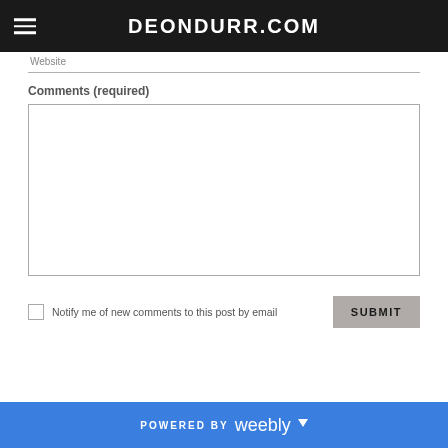DEONDURR.COM
Website
Comments (required)
Notify me of new comments to this post by email
SUBMIT
POWERED BY weebly